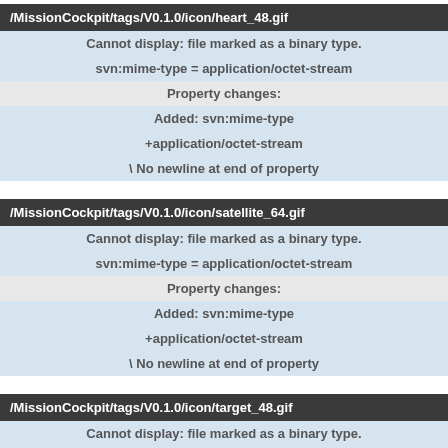/MissionCockpit/tags/V0.1.0/icon/heart_48.gif
Cannot display: file marked as a binary type.
svn:mime-type = application/octet-stream
Property changes:
Added: svn:mime-type
+application/octet-stream
\ No newline at end of property
/MissionCockpit/tags/V0.1.0/icon/satellite_64.gif
Cannot display: file marked as a binary type.
svn:mime-type = application/octet-stream
Property changes:
Added: svn:mime-type
+application/octet-stream
\ No newline at end of property
/MissionCockpit/tags/V0.1.0/icon/target_48.gif
Cannot display: file marked as a binary type.
svn:mime-type = application/octet-stream
Property changes:
Added: svn:mime-type